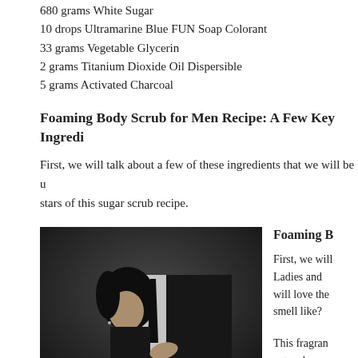680 grams White Sugar
10 drops Ultramarine Blue FUN Soap Colorant
33 grams Vegetable Glycerin
2 grams Titanium Dioxide Oil Dispersible
5 grams Activated Charcoal
Foaming Body Scrub for Men Recipe: A Few Key Ingredi…
First, we will talk about a few of these ingredients that we will be u… stars of this sugar scrub recipe.
[Figure (photo): A woman in a black dress leaning against a man in a black suit and tie]
Foaming B…
First, we will… Ladies and… will love the… smell like?
This fragr… notes: berg…